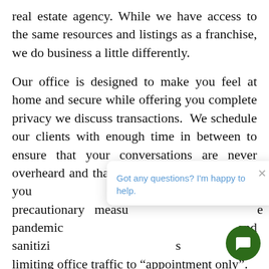real estate agency. While we have access to the same resources and listings as a franchise, we do business a little differently.
Our office is designed to make you feel at home and secure while offering you complete privacy we discuss transactions. We schedule our clients with enough time in between to ensure that your conversations are never overheard and that you are our priority while you are here. We also take precautionary measures to reduce the spread of the pandemic and sanitizing between appointments and limiting office traffic to “appointment only”.
So, what does a Boutique Real Estate Agency mean? At Jacob Realty, we provide a full spectrum of